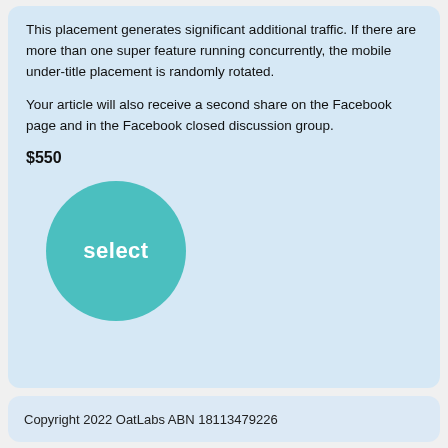This placement generates significant additional traffic. If there are more than one super feature running concurrently, the mobile under-title placement is randomly rotated.
Your article will also receive a second share on the Facebook page and in the Facebook closed discussion group.
$550
[Figure (illustration): A teal circle button with white bold text reading 'select']
Copyright 2022 OatLabs ABN 18113479226